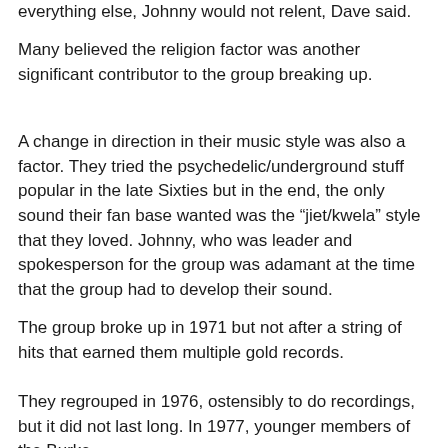everything else, Johnny would not relent, Dave said.
Many believed the religion factor was another significant contributor to the group breaking up.
A change in direction in their music style was also a factor. They tried the psychedelic/underground stuff popular in the late Sixties but in the end, the only sound their fan base wanted was the “jiet/kwela” style that they loved. Johnny, who was leader and spokesperson for the group was adamant at the time that the group had to develop their sound.
The group broke up in 1971 but not after a string of hits that earned them multiple gold records.
They regrouped in 1976, ostensibly to do recordings, but it did not last long. In 1977, younger members of the Burke